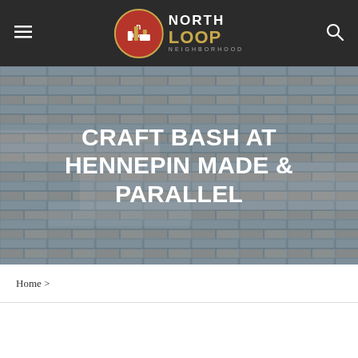North Loop Neighborhood — navigation bar with menu icon, logo, and search icon
[Figure (photo): Weathered brick wall texture in muted blue-gray and pink tones serving as hero background image]
CRAFT BASH AT HENNEPIN MADE & PARALLEL
Home >